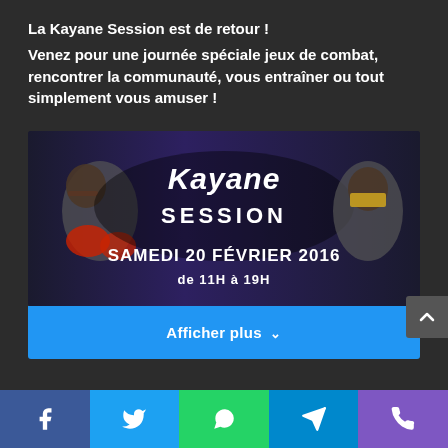La Kayane Session est de retour !
Venez pour une journée spéciale jeux de combat, rencontrer la communauté, vous entraîner ou tout simplement vous amuser !
[Figure (illustration): Kayane Session event banner with fighting game characters (Street Fighter Ryu on the left, Mortal Kombat Scorpion on the right), text reads 'Kayane SESSION' and 'SAMEDI 20 FÉVRIER 2016 de 11H à 19H']
Afficher plus ∨
[Figure (other): Social share bar with Facebook, Twitter, WhatsApp, Telegram, and phone icons]